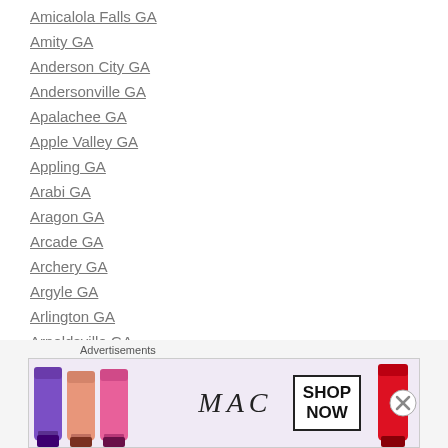Amicalola Falls GA
Amity GA
Anderson City GA
Andersonville GA
Apalachee GA
Apple Valley GA
Appling GA
Arabi GA
Aragon GA
Arcade GA
Archery GA
Argyle GA
Arlington GA
Arnoldsville GA
Arp GA
Ashburn GA
Advertisements
[Figure (photo): MAC Cosmetics advertisement banner showing lipsticks in purple, peach, pink, and red colors with MAC logo and SHOP NOW button]